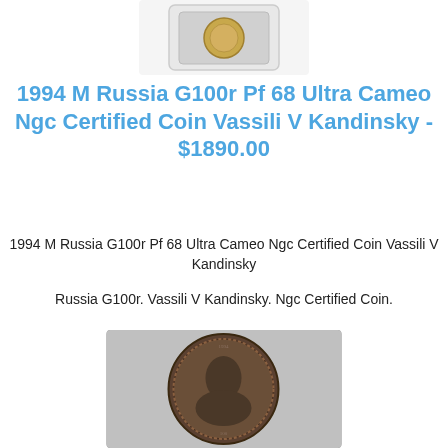[Figure (photo): NGC certified coin holder/slab at top of page, white background with coin visible inside]
1994 M Russia G100r Pf 68 Ultra Cameo Ngc Certified Coin Vassili V Kandinsky - $1890.00
1994 M Russia G100r Pf 68 Ultra Cameo Ngc Certified Coin Vassili V Kandinsky
Russia G100r. Vassili V Kandinsky. Ngc Certified Coin.
[Figure (photo): Dark bronze/copper coin showing portrait of Vassili V Kandinsky, NGC certified, partial view at bottom of page]